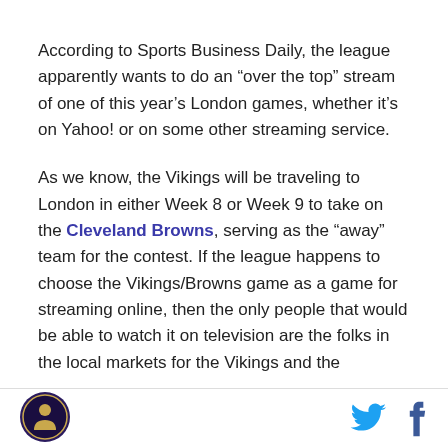According to Sports Business Daily, the league apparently wants to do an “over the top” stream of one of this year’s London games, whether it’s on Yahoo! or on some other streaming service.
As we know, the Vikings will be traveling to London in either Week 8 or Week 9 to take on the Cleveland Browns, serving as the “away” team for the contest. If the league happens to choose the Vikings/Browns game as a game for streaming online, then the only people that would be able to watch it on television are the folks in the local markets for the Vikings and the
[Figure (logo): Circular logo with dark background and golden/yellow figure in center, possibly a sports team or news outlet logo]